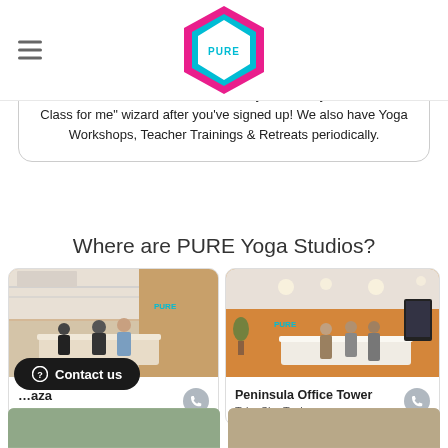PURE Yoga
Over 3,000 classes each week daily. Please try our "Find a Class for me" wizard after you've signed up! We also have Yoga Workshops, Teacher Trainings & Retreats periodically.
Where are PURE Yoga Studios?
[Figure (photo): Reception area of PURE Yoga studio at Lee Garden Plaza, Causeway Bay]
[Figure (photo): Reception area of PURE Yoga studio at Peninsula Office Tower, Tsim Sha Tsui]